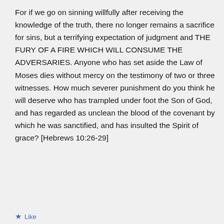For if we go on sinning willfully after receiving the knowledge of the truth, there no longer remains a sacrifice for sins, but a terrifying expectation of judgment and THE FURY OF A FIRE WHICH WILL CONSUME THE ADVERSARIES. Anyone who has set aside the Law of Moses dies without mercy on the testimony of two or three witnesses. How much severer punishment do you think he will deserve who has trampled under foot the Son of God, and has regarded as unclean the blood of the covenant by which he was sanctified, and has insulted the Spirit of grace? [Hebrews 10:26-29]
Like